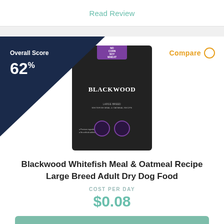Read Review
Overall Score
62%
Compare
[Figure (photo): Blackwood Whitefish Meal & Oatmeal Recipe Large Breed Adult Dry Dog Food product bag — dark/black packaging with purple accent and Blackwood brand logo]
Blackwood Whitefish Meal & Oatmeal Recipe Large Breed Adult Dry Dog Food
COST PER DAY
$0.08
CHECK PRICE